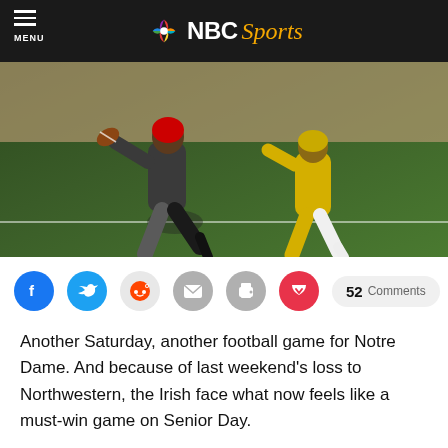NBC Sports
[Figure (photo): Football players in action on the field, one in dark uniform leaping with the ball, another in gold uniform nearby, crowd in background]
[Figure (infographic): Social sharing bar with Facebook, Twitter, Reddit, Email, Print, Pocket icons and 52 Comments button]
Another Saturday, another football game for Notre Dame. And because of last weekend's loss to Northwestern, the Irish face what now feels like a must-win game on Senior Day.
In comes Louisville, a 7-3 team in their first season under